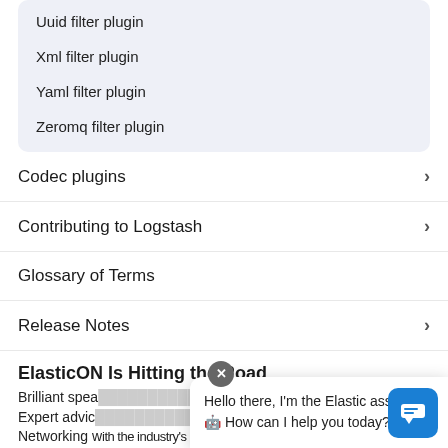Uuid filter plugin
Xml filter plugin
Yaml filter plugin
Zeromq filter plugin
Codec plugins
Contributing to Logstash
Glossary of Terms
Release Notes
ElasticON Is Hitting the Road
Brilliant spea...od.
Expert advic...
Networking with the industry's brightest minds. Join